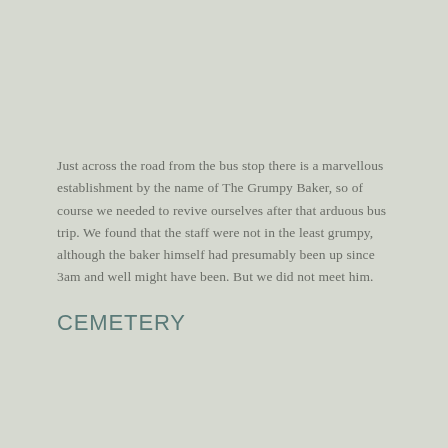Just across the road from the bus stop there is a marvellous establishment by the name of The Grumpy Baker, so of course we needed to revive ourselves after that arduous bus trip. We found that the staff were not in the least grumpy, although the baker himself had presumably been up since 3am and well might have been. But we did not meet him.
CEMETERY